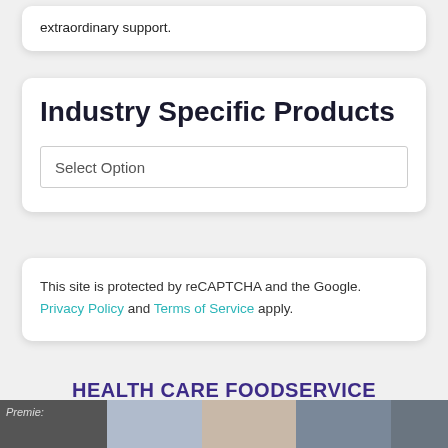extraordinary support.
Industry Specific Products
Select Option
This site is protected by reCAPTCHA and the Google. Privacy Policy and Terms of Service apply.
HEALTH CARE FOODSERVICE SOFTWARE FEATURES
[Figure (photo): Strip of thumbnail photos at bottom of page, partially visible, including a person labeled 'Premie:']